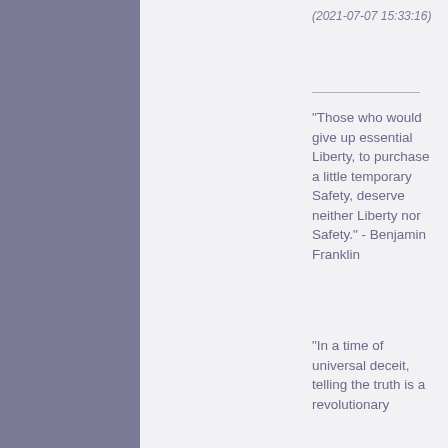(2021-07-07 15:33:16)
"Those who would give up essential Liberty, to purchase a little temporary Safety, deserve neither Liberty nor Safety." - Benjamin Franklin
"In a time of universal deceit, telling the truth is a revolutionary